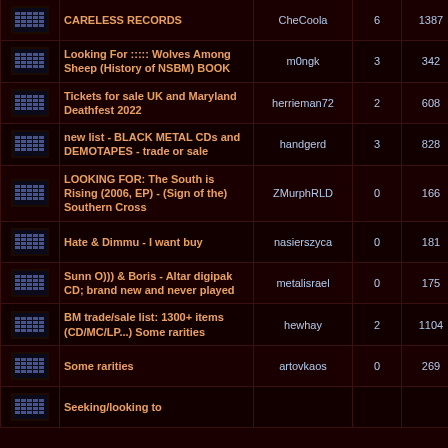| Icon | Title | User | Replies | Views | Date |
| --- | --- | --- | --- | --- | --- |
| [icon] | CARELESS RECORDS | CheCoola | 6 | 1387 | Tue |
| [icon] | Looking For ::::: Wolves Among Sheep (History of NSBM) BOOK | m0ngk | 3 | 342 | Mon |
| [icon] | Tickets for sale UK and Maryland Deathfest 2022 | herrieman72 | 2 | 608 | Wed |
| [icon] | new list - BLACK METAL CDs and DEMOTAPES - trade or sale | handgerd | 3 | 828 | Mon |
| [icon] | LOOKING FOR: The South is Rising (2006, EP) - (Sign of the) Southern Cross | ZMurphRLD | 0 | 166 | Thu |
| [icon] | Hate & Dimmu - I want buy | nasierszyca | 0 | 181 | Mon |
| [icon] | Sunn O))) & Boris - Altar digipak CD; brand new and never played | metalisrael | 0 | 175 | Tue |
| [icon] | BM trade/sale list: 1300+ items (CD/MC/LP...) Some rarities | hewhay | 2 | 1104 | Tue |
| [icon] | Some rarities | artovkaos | 0 | 269 | Sun |
| [icon] | Seeking/looking to |  |  |  | Thu |